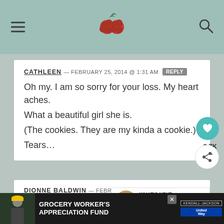Navigation header with hamburger menu, raspberry logo, and search icon
CATHLEEN — FEBRUARY 25, 2014 @ 1:31 AM  REPLY

Oh my. I am so sorry for your loss. My heart aches.
What a beautiful girl she is.
(The cookies. They are my kinda a cookie.)
Tears…
DIONNE BALDWIN — FEBRUARY 25, 2014  REPLY

Sweet Lambeau. <3 I am so sorry my friend. It's
[Figure (other): What's Next widget showing a cookie image with text 'Chocolate Chip...']
[Figure (other): Advertisement banner: GROCERY WORKER'S APPRECIATION FUND with Kendall-Jackson and United Way logos]